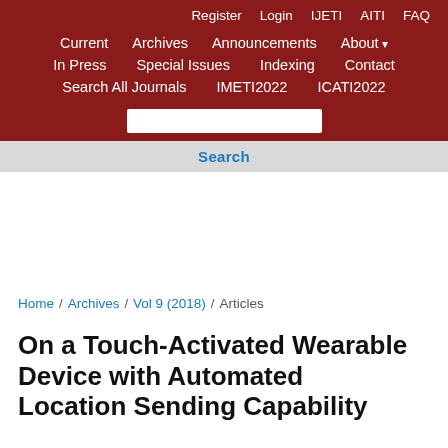Register  Login  IJETI  AITI  FAQ
Current  Archives  Announcements  About  In Press  Special Issues  Indexing  Contact  Search All Journals  IMETI2022  ICATI2022
Home / Archives / Vol 9 (2018) / Articles
On a Touch-Activated Wearable Device with Automated Location Sending Capability